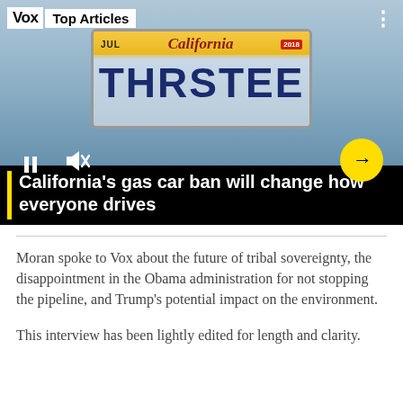[Figure (screenshot): Vox Top Articles video card showing a California license plate reading 'THRSTEE' with playback controls (pause, mute), an arrow button, and the article title 'California's gas car ban will change how everyone drives' overlaid at the bottom with a yellow stripe accent.]
Moran spoke to Vox about the future of tribal sovereignty, the disappointment in the Obama administration for not stopping the pipeline, and Trump's potential impact on the environment.
This interview has been lightly edited for length and clarity.